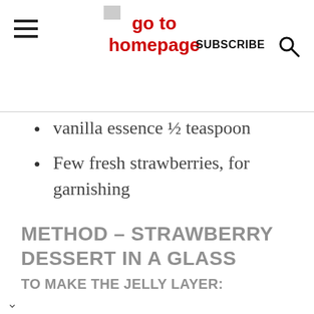go to homepage | SUBSCRIBE | [search icon]
vanilla essence ½ teaspoon
Few fresh strawberries, for garnishing
METHOD – STRAWBERRY DESSERT IN A GLASS
TO MAKE THE JELLY LAYER: